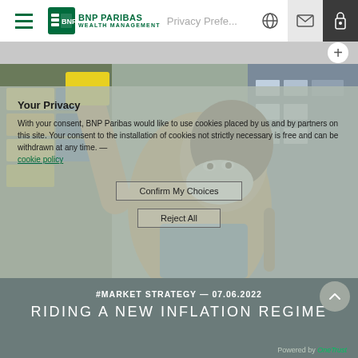BNP PARIBAS WEALTH MANAGEMENT — Privacy Preferences
Your Privacy
With your consent, BNP Paribas would like to use cookies placed by us and by partners on this site. Your consent to the installation of cookies not strictly necessary is free and can be withdrawn at any time.
cookie policy
Confirm My Choices
Reject All
[Figure (photo): Woman wearing a face mask shopping in a grocery store, reaching up to shelves with products]
#MARKET STRATEGY — 07.06.2022
RIDING A NEW INFLATION REGIME
Powered by OneTrust